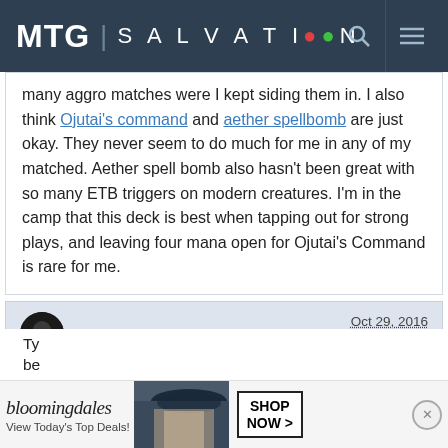MTG SALVATION
many aggro matches were I kept siding them in. I also think Ojutai's command and aether spellbomb are just okay. They never seem to do much for me in any of my matched. Aether spell bomb also hasn't been great with so many ETB triggers on modern creatures. I'm in the camp that this deck is best when tapping out for strong plays, and leaving four mana open for Ojutai's Command is rare for me.
lord_darkview   Oct 29, 2016   #109
Member Details
[Figure (other): Bloomingdale's advertisement banner: 'View Today's Top Deals!' with woman in hat image and 'SHOP NOW >' button]